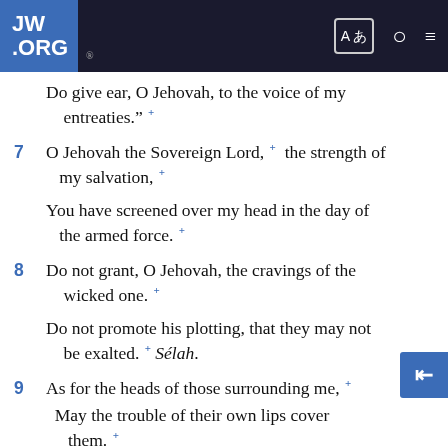JW.ORG
Do give ear, O Jehovah, to the voice of my entreaties."+
7  O Jehovah the Sovereign Lord,+ the strength of my salvation,+
You have screened over my head in the day of the armed force.+
8  Do not grant, O Jehovah, the cravings of the wicked one.+
Do not promote his plotting, that they may not be exalted.+ Selah.
9  As for the heads of those surrounding me,+
May the trouble of their own lips cover them.+
10  May burning coals be dropped upon them.+
Let them be made to fall into the fire,+ into watery pits, that they may not get up.+